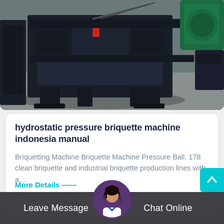[Figure (photo): Industrial briquette machine / hydraulic press machine, dark metal frame, green component visible at top right, in a factory/workshop setting with gray floor]
hydrostatic pressure briquette machine indonesia manual
Briquetting Machine Briquette Machine Pressure Ball. 178 clean briquette and industrial briquette production lines with a…
Release Time : 09-01
More Details
Leave Message   Chat Online